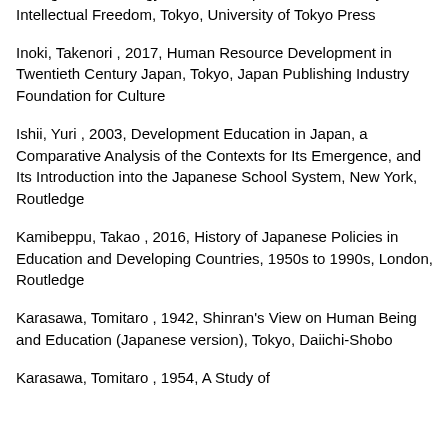Thought and Ideology in Modern Japan, State Authority and Intellectual Freedom, Tokyo, University of Tokyo Press
Inoki, Takenori , 2017, Human Resource Development in Twentieth Century Japan, Tokyo, Japan Publishing Industry Foundation for Culture
Ishii, Yuri , 2003, Development Education in Japan, a Comparative Analysis of the Contexts for Its Emergence, and Its Introduction into the Japanese School System, New York, Routledge
Kamibeppu, Takao , 2016, History of Japanese Policies in Education and Developing Countries, 1950s to 1990s, London, Routledge
Karasawa, Tomitaro , 1942, Shinran's View on Human Being and Education (Japanese version), Tokyo, Daiichi-Shobo
Karasawa, Tomitaro , 1954, A Study of